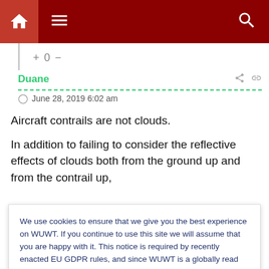Navigation bar with home, menu, and search icons
+ 0 −
Duane
June 28, 2019 6:02 am
Aircraft contrails are not clouds.
In addition to failing to consider the reflective effects of clouds both from the ground up and from the contrail up,
We use cookies to ensure that we give you the best experience on WUWT. If you continue to use this site we will assume that you are happy with it. This notice is required by recently enacted EU GDPR rules, and since WUWT is a globally read website, we need to keep the bureaucrats off our case! Cookie Policy
Close and accept
effects wrought by the reflectivity of the ice crystals.